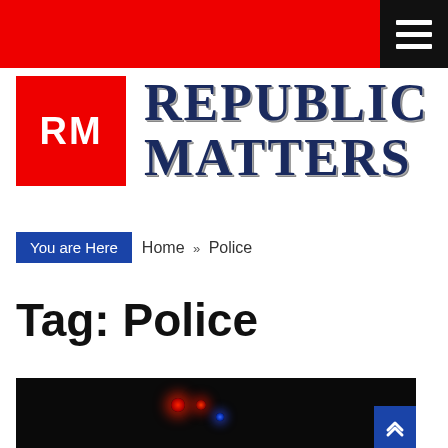Republic Matters – top navigation bar with hamburger menu
[Figure (logo): Republic Matters logo: red square with white 'RM' text beside bold dark blue uppercase 'REPUBLIC MATTERS' site name]
You are Here  Home » Police
Tag: Police
[Figure (photo): Dark nighttime photo showing police vehicle with red and blue emergency lights illuminated]